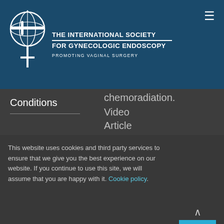[Figure (logo): The International Society for Gynecologic Endoscopy logo with globe and female symbol]
THE INTERNATIONAL SOCIETY FOR GYNECOLOGIC ENDOSCOPY — PROMOTING VAGINAL SURGERY
Conditions
Chemoradiation.
Video
Article
> Transvaginal Natural Orifice
This website uses cookies and third party services to ensure that we give you the best experience on our website. If you continue to use this site, we will assume that you are happy with it. Cookie policy.